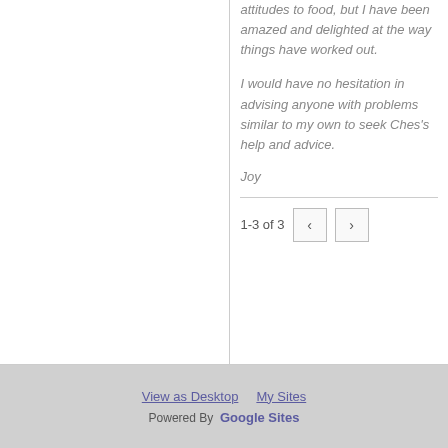attitudes to food, but I have been amazed and delighted at the way things have worked out.
I would have no hesitation in advising anyone with problems similar to my own to seek Ches's help and advice.
Joy
1-3 of 3
View as Desktop   My Sites   Powered By Google Sites